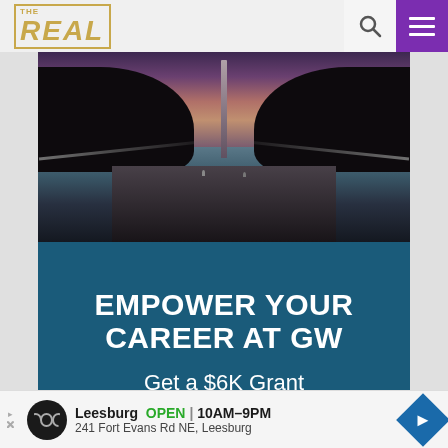THE REAL
[Figure (photo): Washington Monument reflecting pool at dusk with pink/purple sky and dark tree silhouettes. Advertisement for George Washington University.]
EMPOWER YOUR CAREER AT GW
Get a $6K Grant
Leesburg  OPEN  10AM–9PM  241 Fort Evans Rd NE, Leesburg